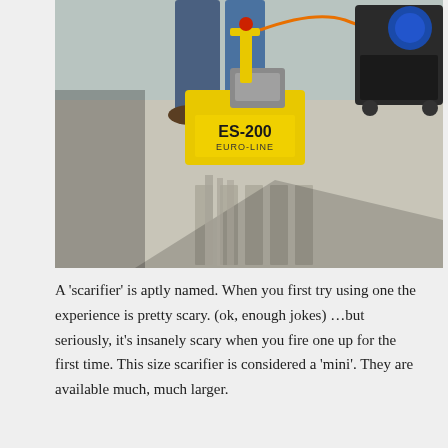[Figure (photo): A yellow ES-200 Euro-Line scarifier machine being operated on a concrete surface, with a person's legs visible behind it and a generator to the right. The machine is leaving scored grooves in the concrete.]
A 'scarifier' is aptly named. When you first try using one the experience is pretty scary. (ok, enough jokes) …but seriously, it's insanely scary when you fire one up for the first time. This size scarifier is considered a 'mini'. They are available much, much larger.